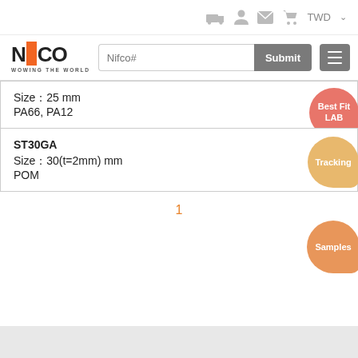TWD
[Figure (logo): NIFCO logo with orange flag element and tagline WOWING THE WORLD]
Size：25 mm
PA66, PA12
ST30GA
Size：30(t=2mm) mm
POM
1